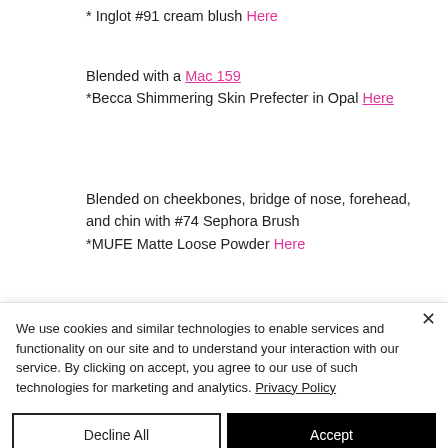* Inglot #91 cream blush Here
Blended with a Mac 159
*Becca Shimmering Skin Prefecter in Opal Here
Blended on cheekbones, bridge of nose, forehead, and chin with #74 Sephora Brush
*MUFE Matte Loose Powder Here
We use cookies and similar technologies to enable services and functionality on our site and to understand your interaction with our service. By clicking on accept, you agree to our use of such technologies for marketing and analytics. Privacy Policy
Decline All
Accept
Cookies